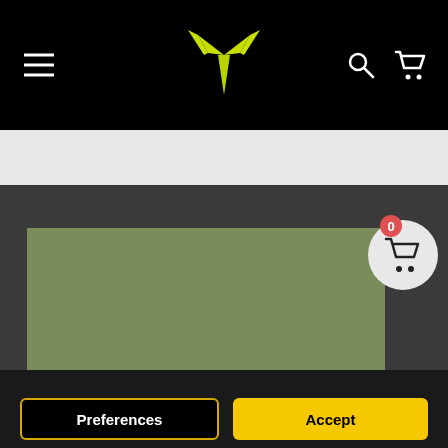Navigation bar with hamburger menu, logo, search and cart icons
[Figure (screenshot): Dark navigation bar with hamburger menu on left, yellow winged logo in center, search and cart icons on right]
[Figure (photo): Olive green product image placeholder on dark grey background with floating cart button showing badge count 0]
This website uses cookies to ensure you get the best experience on our website. Privacy Policy
Preferences
Accept